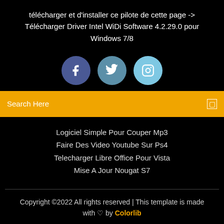télécharger et d'installer ce pilote de cette page -> Télécharger Driver Intel WiDi Software 4.2.29.0 pour Windows 7/8
[Figure (illustration): Three social media icon circles: Facebook (dark blue), Twitter (medium blue), Instagram (light blue)]
Search Here
Logiciel Simple Pour Couper Mp3
Faire Des Video Youtube Sur Ps4
Telecharger Libre Office Pour Vista
Mise A Jour Nougat S7
Copyright ©2022 All rights reserved | This template is made with ♡ by Colorlib